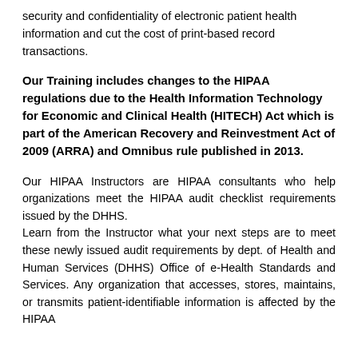security and confidentiality of electronic patient health information and cut the cost of print-based record transactions.
Our Training includes changes to the HIPAA regulations due to the Health Information Technology for Economic and Clinical Health (HITECH) Act which is part of the American Recovery and Reinvestment Act of 2009 (ARRA) and Omnibus rule published in 2013.
Our HIPAA Instructors are HIPAA consultants who help organizations meet the HIPAA audit checklist requirements issued by the DHHS. Learn from the Instructor what your next steps are to meet these newly issued audit requirements by dept. of Health and Human Services (DHHS) Office of e-Health Standards and Services. Any organization that accesses, stores, maintains, or transmits patient-identifiable information is affected by the HIPAA